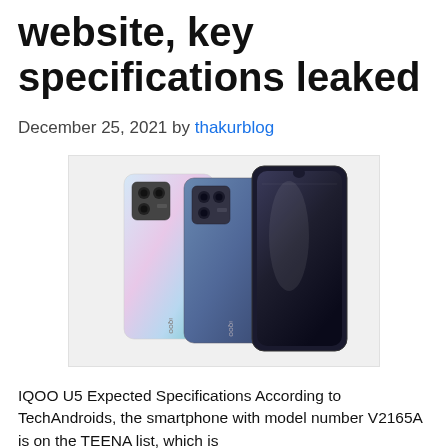website, key specifications leaked
December 25, 2021 by thakurblog
[Figure (photo): Three iQOO smartphones shown from the back and front. Two models shown from the back with gradient color finishes (pink-blue and dark blue), and one shown from the front with a dark blue finish and waterdrop notch. All three have square camera modules on the back. iQOO logo visible on the lower back.]
IQOO U5 Expected Specifications According to TechAndroids, the smartphone with model number V2165A is on the TEENA list, which is